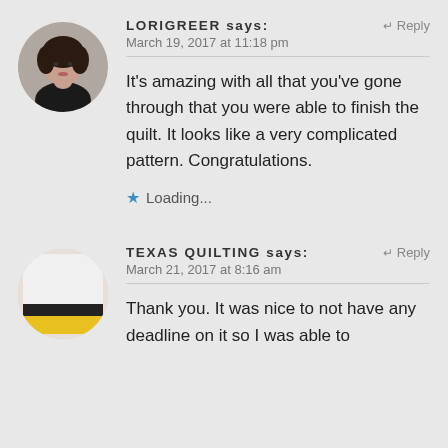[Figure (photo): Circular avatar photo of a woman with dark curly hair wearing a black top]
LORIGREER says:
Reply
March 19, 2017 at 11:18 pm
It's amazing with all that you've gone through that you were able to finish the quilt. It looks like a very complicated pattern. Congratulations.
Loading...
[Figure (photo): Circular avatar photo showing a quilt with black and white and yellow fabric]
TEXAS QUILTING says:
Reply
March 21, 2017 at 8:16 am
Thank you. It was nice to not have any deadline on it so I was able to